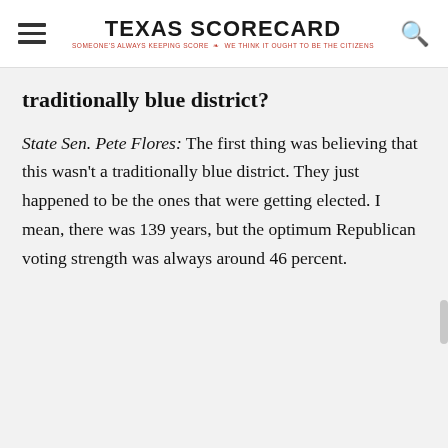TEXAS SCORECARD — SOMEONE'S ALWAYS KEEPING SCORE — WE THINK IT OUGHT TO BE THE CITIZENS
traditionally blue district?
State Sen. Pete Flores: The first thing was believing that this wasn't a traditionally blue district. They just happened to be the ones that were getting elected. I mean, there was 139 years, but the optimum Republican voting strength was always around 46 percent.